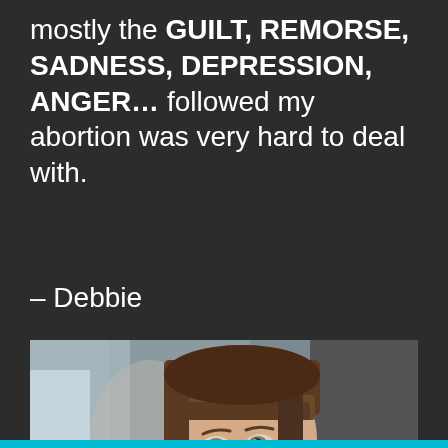mostly the GUILT, REMORSE, SADNESS, DEPRESSION, ANGER… followed my abortion was very hard to deal with.
– Debbie
[Figure (photo): Portrait photo of a young woman with short brown bangs, looking pensively to the side. She is wearing a floral top and small round earrings. The background is blurred with light coming from the left.]